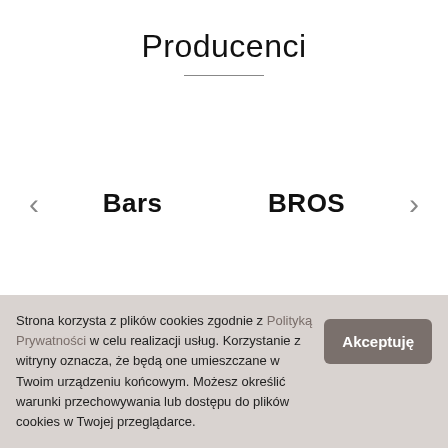Producenci
< Bars BROS >
Ostatnio dodane produkty
Strona korzysta z plików cookies zgodnie z Polityką Prywatności w celu realizacji usług. Korzystanie z witryny oznacza, że będą one umieszczane w Twoim urządzeniu końcowym. Możesz określić warunki przechowywania lub dostępu do plików cookies w Twojej przeglądarce.
Akceptuję